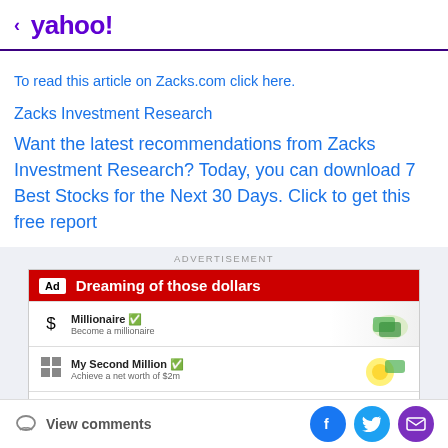< yahoo!
To read this article on Zacks.com click here.
Zacks Investment Research
Want the latest recommendations from Zacks Investment Research? Today, you can download 7 Best Stocks for the Next 30 Days. Click to get this free report
[Figure (screenshot): Advertisement banner: 'Dreaming of those dollars' with rows for Millionaire, My Second Million, and Multimillionaire options, featuring money/emoji graphics]
View comments | Facebook | Twitter | Email